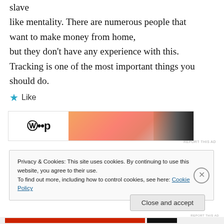slave like mentality. There are numerous people that want to make money from home, but they don't have any experience with this. Tracking is one of the most important things you should do.
★ Like
[Figure (screenshot): Advertisement banner with a logo on the left and a gradient orange/peach/dark image on the right]
REPORT THIS AD
Privacy & Cookies: This site uses cookies. By continuing to use this website, you agree to their use.
To find out more, including how to control cookies, see here: Cookie Policy
Close and accept